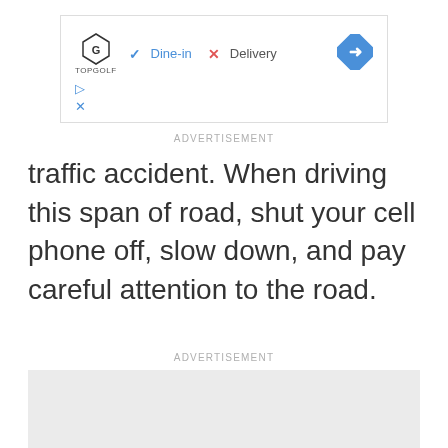[Figure (screenshot): Advertisement banner showing Topgolf logo with Dine-in checkmark and Delivery X mark, and a blue navigation diamond icon]
ADVERTISEMENT
traffic accident. When driving this span of road, shut your cell phone off, slow down, and pay careful attention to the road.
ADVERTISEMENT
[Figure (other): Empty grey advertisement placeholder box]